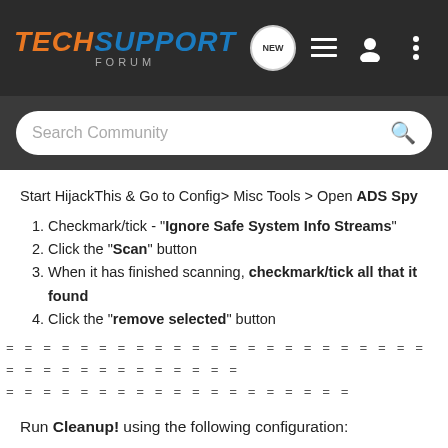TechSupport Forum — header with navigation icons
Search Community
Start HijackThis & Go to Config> Misc Tools > Open ADS Spy
1. Checkmark/tick - "Ignore Safe System Info Streams"
2. Click the "Scan" button
3. When it has finished scanning, checkmark/tick all that it found
4. Click the "remove selected" button
= = = = = = = = = = = = = = = = = = = = = = = = = = = = = = = = = = = =
= = = = = = = = = = = = = = = = = = =
Run Cleanup! using the following configuration: